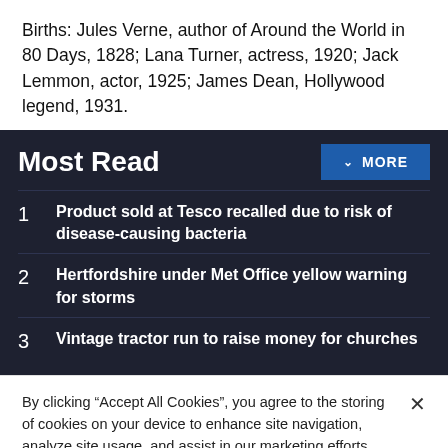Births: Jules Verne, author of Around the World in 80 Days, 1828; Lana Turner, actress, 1920; Jack Lemmon, actor, 1925; James Dean, Hollywood legend, 1931.
Most Read
1  Product sold at Tesco recalled due to risk of disease-causing bacteria
2  Hertfordshire under Met Office yellow warning for storms
3  Vintage tractor run to raise money for churches
By clicking "Accept All Cookies", you agree to the storing of cookies on your device to enhance site navigation, analyze site usage, and assist in our marketing efforts.
Cookies Settings | Accept All Cookies